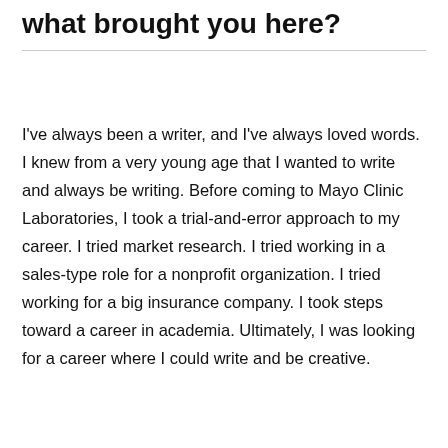what brought you here?
I've always been a writer, and I've always loved words. I knew from a very young age that I wanted to write and always be writing. Before coming to Mayo Clinic Laboratories, I took a trial-and-error approach to my career. I tried market research. I tried working in a sales-type role for a nonprofit organization. I tried working for a big insurance company. I took steps toward a career in academia. Ultimately, I was looking for a career where I could write and be creative.